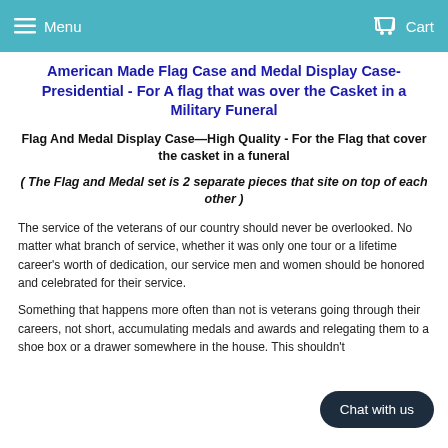Menu   Cart
American Made Flag Case and Medal Display Case- Presidential - For A flag that was over the Casket in a Military Funeral
Flag And Medal Display Case—High Quality - For the Flag that cover the casket in a funeral
( The Flag and Medal set is 2 separate pieces that site on top of each other )
The service of the veterans of our country should never be overlooked. No matter what branch of service, whether it was only one tour or a lifetime career's worth of dedication, our service men and women should be honored and celebrated for their service.
Something that happens more often than not is veterans going through their careers, not short, accumulating medals and awards and relegating them to a shoe box or a drawer somewhere in the house. This shouldn't